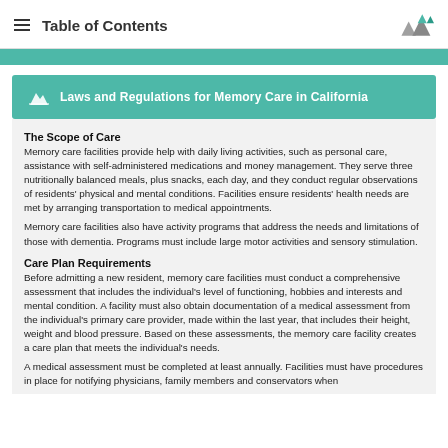Table of Contents
Laws and Regulations for Memory Care in California
The Scope of Care
Memory care facilities provide help with daily living activities, such as personal care, assistance with self-administered medications and money management. They serve three nutritionally balanced meals, plus snacks, each day, and they conduct regular observations of residents' physical and mental conditions. Facilities ensure residents' health needs are met by arranging transportation to medical appointments.

Memory care facilities also have activity programs that address the needs and limitations of those with dementia. Programs must include large motor activities and sensory stimulation.
Care Plan Requirements
Before admitting a new resident, memory care facilities must conduct a comprehensive assessment that includes the individual's level of functioning, hobbies and interests and mental condition. A facility must also obtain documentation of a medical assessment from the individual's primary care provider, made within the last year, that includes their height, weight and blood pressure. Based on these assessments, the memory care facility creates a care plan that meets the individual's needs.

A medical assessment must be completed at least annually. Facilities must have procedures in place for notifying physicians, family members and conservators when